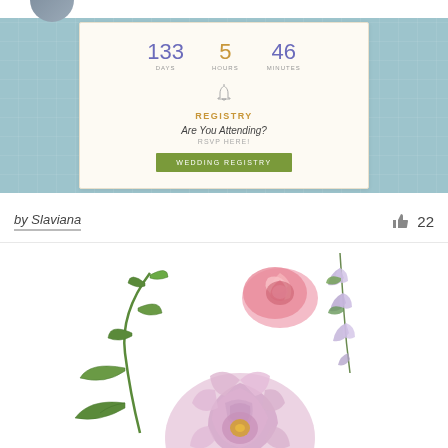[Figure (screenshot): Wedding countdown card on light blue patterned banner background. Card shows: 133 DAYS (purple), 5 HOURS (gold), 46 MINUTES (purple), a bell icon, REGISTRY label in gold uppercase, 'Are You Attending?' italic text, 'RSVP HERE!' small text, and a green 'WEDDING REGISTRY' button.]
by Slaviana
22
[Figure (illustration): Watercolor floral illustration with pink roses, light purple/lavender bell-shaped flowers (lily of the valley style), and green leaves on white background.]